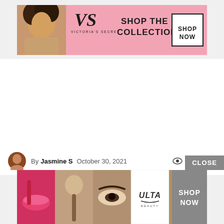[Figure (illustration): Victoria's Secret banner advertisement — pink background with model, VS logo, 'SHOP THE COLLECTION' text, and 'SHOP NOW' white button]
[Figure (photo): Large blank/white content area of webpage between the two advertisements]
By Jasmine S   October 30, 2021   👁 14   💬 0
[Figure (illustration): ULTA Beauty banner advertisement — collage of makeup/beauty model photos, ULTA logo, and 'SHOP NOW' button, with a CLOSE button above it]